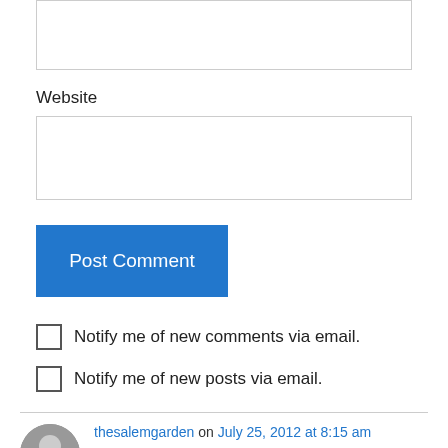Website
Post Comment
Notify me of new comments via email.
Notify me of new posts via email.
thesalemgarden on July 25, 2012 at 8:15 am
These look like a great project for my daughter (she's an aspiring baker) and I to try!